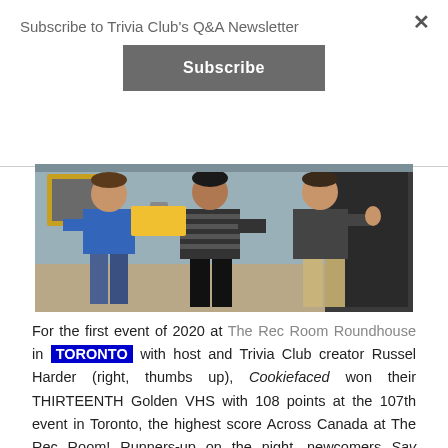Subscribe to Trivia Club's Q&A Newsletter
Subscribe
[Figure (photo): Three people standing indoors, one in a blue shirt and jeans, one in a striped sweater, one in khaki pants, appears to be an event or award presentation]
For the first event of 2020 at The Rec Room Roundhouse in TORONTO with host and Trivia Club creator Russel Harder (right, thumbs up), Cookiefaced won their THIRTEENTH Golden VHS with 108 points at the 107th event in Toronto, the highest score Across Canada at The Rec Room! Runners-up on the night, newcomers Say Crack Again finished with 92 points, the fifth highest score across all Trivia Club locations for the week. CLICK